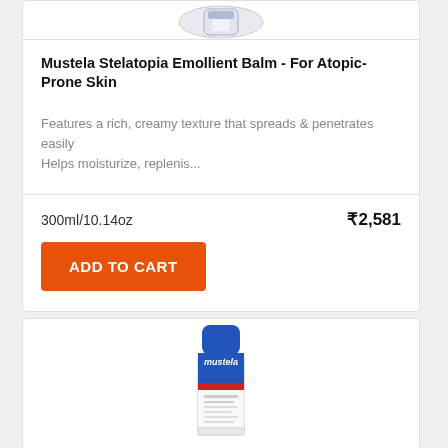[Figure (photo): Partial product image of Mustela cream/balm container at top of page]
Mustela Stelatopia Emollient Balm - For Atopic-Prone Skin
Features a rich, creamy texture that spreads & penetrates easily Helps moisturize, replenis...
300ml/10.14oz
₹2,581
ADD TO CART
[Figure (photo): Mustela Soothing Moisturizing Lotion product bottle with blue cap and white tube body]